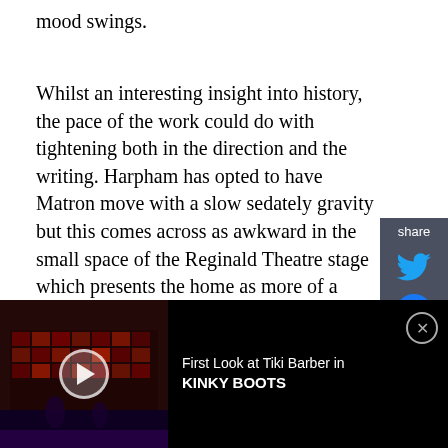mood swings.
Whilst an interesting insight into history, the pace of the work could do with tightening both in the direction and the writing. Harpham has opted to have Matron move with a slow sedately gravity but this comes across as awkward in the small space of the Reginald Theatre stage which presents the home as more of a cottage than a bigger house. The choice to spread the use of the stage to focus action in the far corners is also challenging. Julia and Martha's interaction in the cabbage patch is presented in the far right corner, partially behind a chaise lounge which for anyone not sitting in the right hand side of
[Figure (screenshot): Video player bar at bottom of page showing a still from a stage production with red/dark lighting, a play button overlay, and text 'First Look at Tiki Barber in KINKY BOOTS' with a close button]